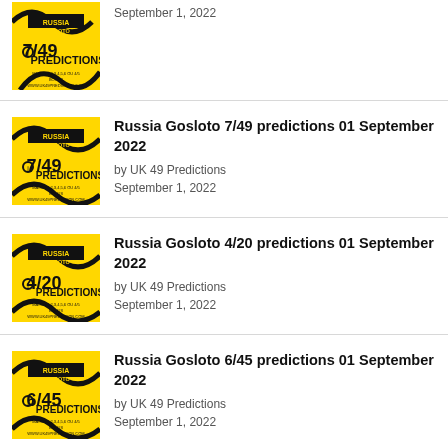Russia Gosloto 7/49 predictions 01 September 2022
by UK 49 Predictions
September 1, 2022
Russia Gosloto 4/20 predictions 01 September 2022
by UK 49 Predictions
September 1, 2022
Russia Gosloto 6/45 predictions 01 September 2022
by UK 49 Predictions
September 1, 2022